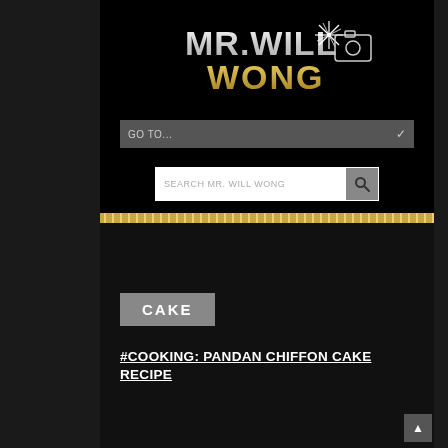[Figure (logo): MR. WILL WONG logo with stylized text in silver and gold with a starburst and camera icon]
GO TO...
SEARCH MR. WILL WONG
CAKE
#COOKING: PANDAN CHIFFON CAKE RECIPE